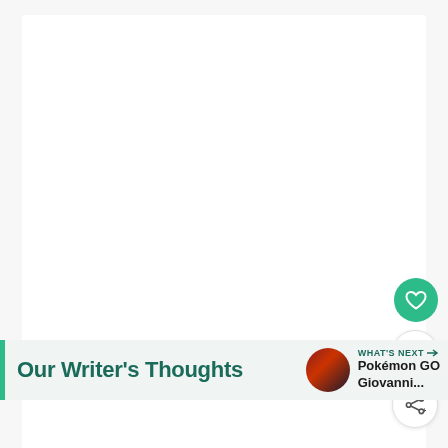[Figure (screenshot): White card area — large blank white content area occupying most of the page]
[Figure (infographic): Green circular heart/like button, like count badge showing '1', and share button arranged vertically on the right side]
Our Writer's Thoughts
WHAT'S NEXT → Pokémon GO Giovanni...